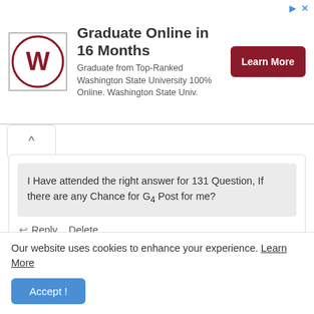[Figure (infographic): Advertisement banner: WSU logo, 'Graduate Online in 16 Months', description text, and 'Learn More' button]
I Have attended the right answer for 131 Question, If there are any Chance for G4 Post for me?
Reply   Delete
Anonymous
25 February 2015 at 17:05
Our website uses cookies to enhance your experience. Learn More
Accept !